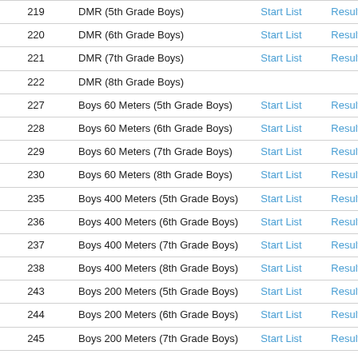|  | Event | Start List | Results |
| --- | --- | --- | --- |
| 219 | DMR (5th Grade Boys) | Start List | Results |
| 220 | DMR (6th Grade Boys) | Start List | Results |
| 221 | DMR (7th Grade Boys) | Start List | Results |
| 222 | DMR (8th Grade Boys) |  |  |
| 227 | Boys 60 Meters (5th Grade Boys) | Start List | Results |
| 228 | Boys 60 Meters (6th Grade Boys) | Start List | Results |
| 229 | Boys 60 Meters (7th Grade Boys) | Start List | Results |
| 230 | Boys 60 Meters (8th Grade Boys) | Start List | Results |
| 235 | Boys 400 Meters (5th Grade Boys) | Start List | Results |
| 236 | Boys 400 Meters (6th Grade Boys) | Start List | Results |
| 237 | Boys 400 Meters (7th Grade Boys) | Start List | Results |
| 238 | Boys 400 Meters (8th Grade Boys) | Start List | Results |
| 243 | Boys 200 Meters (5th Grade Boys) | Start List | Results |
| 244 | Boys 200 Meters (6th Grade Boys) | Start List | Results |
| 245 | Boys 200 Meters (7th Grade Boys) | Start List | Results |
| 246 | Boys 200 Meters (8th Grade Boys) | Start List | Results |
| 251 | Boys 400m SMR (5th Grade Boys) | Start List | Results |